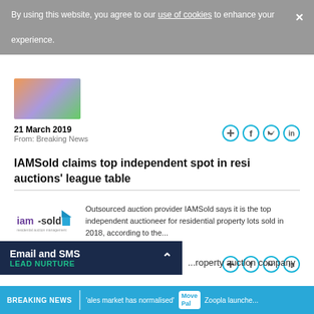By using this website, you agree to our use of cookies to enhance your experience.
[Figure (photo): Partial thumbnail image with colorful background (green, purple, red)]
21 March 2019
From: Breaking News
[Figure (infographic): Four circular share icons: plus, Facebook, Twitter, LinkedIn]
IAMSold claims top independent spot in resi auctions' league table
[Figure (logo): iam-sold logo with house icon]
Outsourced auction provider IAMSold says it is the top independent auctioneer for residential property lots sold in 2018, according to the...
05 March 2019
From: Breaking News
[Figure (infographic): Four circular share icons: plus, Facebook, Twitter, LinkedIn]
Email and SMS
LEAD NURTURE
...roperty auction company
BREAKING NEWS   'ales market has normalised'   Move Pal   Zoopla launche...